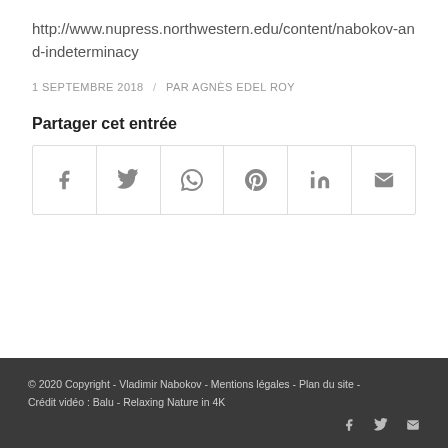http://www.nupress.northwestern.edu/content/nabokov-and-indeterminacy
1 SEPTEMBRE 2018 / PAR AGNÈS EDEL ROY
Partager cet entrée
[Figure (other): Social share buttons: Facebook, Twitter, WhatsApp, Pinterest, LinkedIn, Email]
© 2020 Copyright - Vladimir Nabokov - Mentions légales - Plan du site - Crédit vidéo : Balu - Relaxing Nature in 4K